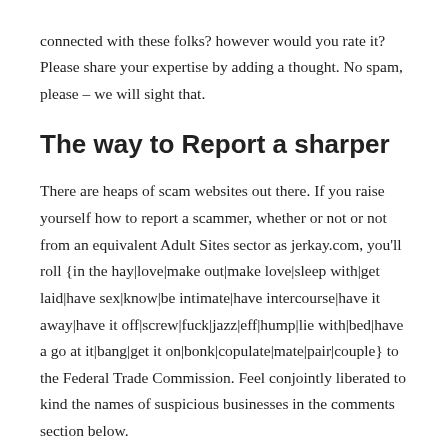connected with these folks? however would you rate it? Please share your expertise by adding a thought. No spam, please – we will sight that.
The way to Report a sharper
There are heaps of scam websites out there. If you raise yourself how to report a scammer, whether or not or not from an equivalent Adult Sites sector as jerkay.com, you'll roll {in the hay|love|make out|make love|sleep with|get laid|have sex|know|be intimate|have intercourse|have it away|have it off|screw|fuck|jazz|eff|hump|lie with|bed|have a go at it|bang|get it on|bonk|copulate|mate|pair|couple} to the Federal Trade Commission. Feel conjointly liberated to kind the names of suspicious businesses in the comments section below.